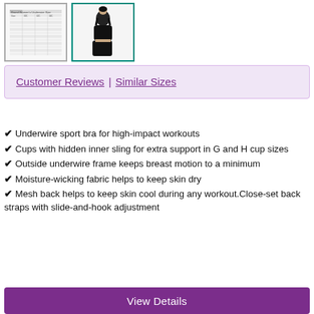[Figure (photo): Thumbnail image showing a size chart table for the product]
[Figure (photo): Thumbnail image of a woman wearing a black sport bra with black leggings]
Customer Reviews | Similar Sizes
Underwire sport bra for high-impact workouts
Cups with hidden inner sling for extra support in G and H cup sizes
Outside underwire frame keeps breast motion to a minimum
Moisture-wicking fabric helps to keep skin dry
Mesh back helps to keep skin cool during any workout.Close-set back straps with slide-and-hook adjustment
View Details